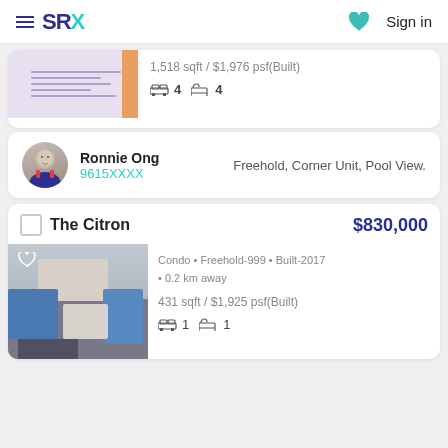SRX — Sign in
[Figure (photo): Partial property listing card with blueprint floor plan image]
1,518 sqft / $1,976 psf(Built)
4 bedrooms, 4 bathrooms
Ronnie Ong
9615XXXX
Freehold, Corner Unit, Pool View.
The Citron
$830,000
Condo • Freehold-999 • Built-2017 • 0.2 km away
431 sqft / $1,925 psf(Built)
1 bedroom, 1 bathroom